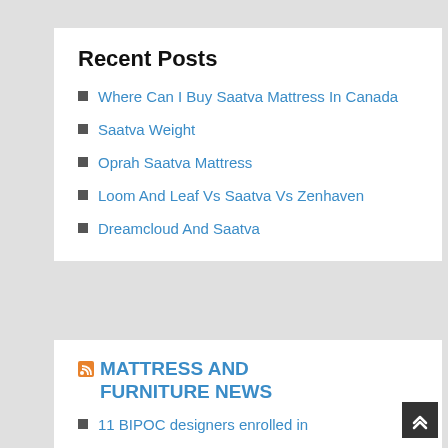Recent Posts
Where Can I Buy Saatva Mattress In Canada
Saatva Weight
Oprah Saatva Mattress
Loom And Leaf Vs Saatva Vs Zenhaven
Dreamcloud And Saatva
MATTRESS AND FURNITURE NEWS
11 BIPOC designers enrolled in